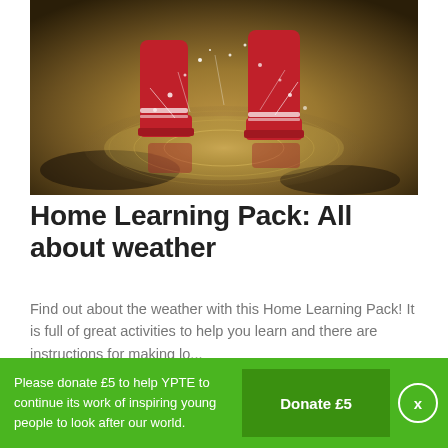[Figure (photo): Child's red rubber boots splashing in a puddle, viewed from above, with water splashing around the boots]
Home Learning Pack: All about weather
Find out about the weather with this Home Learning Pack! It is full of great activities to help you learn and there are instructions for making lo...
[Figure (photo): Partial view of a second photo at the bottom, showing green outdoor scenery]
Please donate £5 to help YPTE to continue its work of inspiring young people to look after our world.
Donate £5